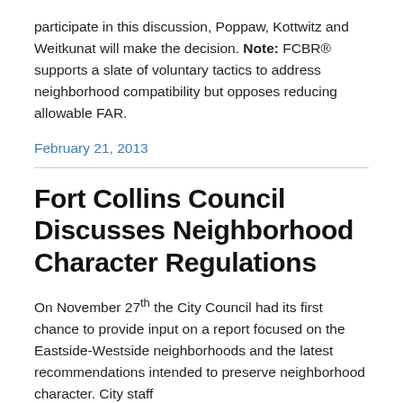participate in this discussion, Poppaw, Kottwitz and Weitkunat will make the decision. Note: FCBR® supports a slate of voluntary tactics to address neighborhood compatibility but opposes reducing allowable FAR.
February 21, 2013
Fort Collins Council Discusses Neighborhood Character Regulations
On November 27th the City Council had its first chance to provide input on a report focused on the Eastside-Westside neighborhoods and the latest recommendations intended to preserve neighborhood character. City staff